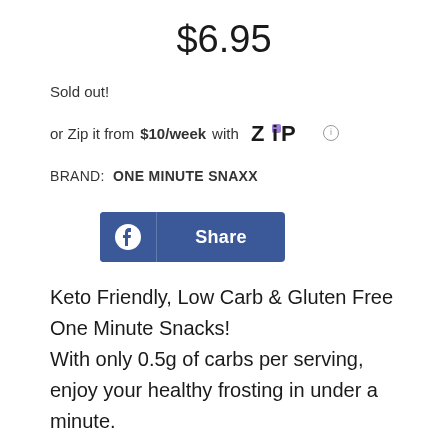$6.95
Sold out!
or Zip it from $10/week with Zip ℹ
BRAND: ONE MINUTE SNAXX
[Figure (other): Facebook Share button with blue background, Facebook logo icon on left and 'Share' text on right]
Keto Friendly, Low Carb & Gluten Free One Minute Snacks!
With only 0.5g of carbs per serving, enjoy your healthy frosting in under a minute.